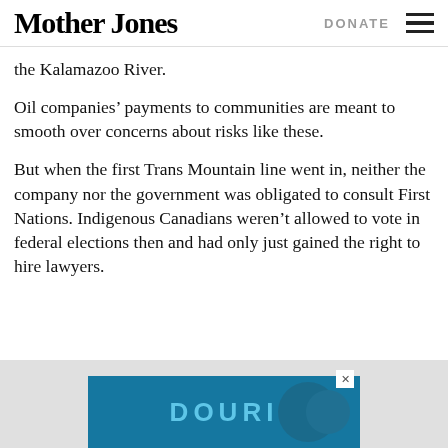Mother Jones | DONATE
the Kalamazoo River.
Oil companies’ payments to communities are meant to smooth over concerns about risks like these.
But when the first Trans Mountain line went in, neither the company nor the government was obligated to consult First Nations. Indigenous Canadians weren’t allowed to vote in federal elections then and had only just gained the right to hire lawyers.
[Figure (screenshot): Advertisement banner with blue background showing partial text 'DOURI' in large stylized letters]